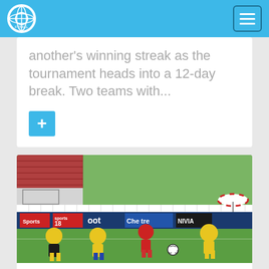Football news website header with logo and hamburger menu
another's winning streak as the tournament heads into a 12-day break. Two teams with...
[Figure (photo): Football match photo: players in yellow and red/white kits competing on a green pitch, with stadium advertising boards in the background including Sports 18, Boot, Che, and NIVIA logos]
DURAND CUP